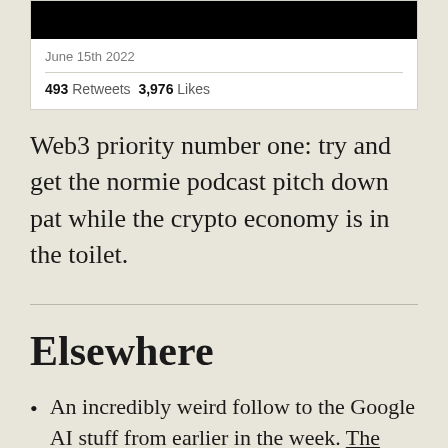[Figure (screenshot): Tweet card showing a black image at top, date 'June 15th 2022', a divider, and stats showing '493 Retweets 3,976 Likes']
Web3 priority number one: try and get the normie podcast pitch down pat while the crypto economy is in the toilet.
Elsewhere
An incredibly weird follow to the Google AI stuff from earlier in the week. The NYT reports that the Fellowship of Friends, an